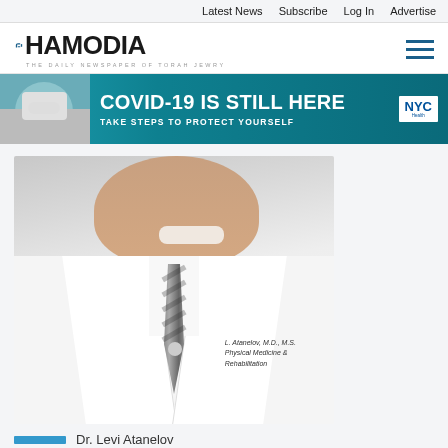Latest News  Subscribe  Log In  Advertise
[Figure (logo): Hamodia newspaper logo — THE DAILY NEWSPAPER OF TORAH JEWRY]
[Figure (infographic): COVID-19 IS STILL HERE. TAKE STEPS TO PROTECT YOURSELF. NYC banner advertisement with masked person on phone.]
[Figure (photo): Doctor in white lab coat with name badge: L. Atanelov, M.D., M.S., Physical Medicine & Rehabilitation, smiling portrait.]
Dr. Levi Atanelov